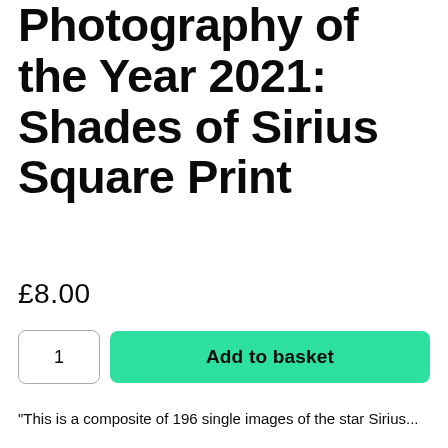Photography of the Year 2021: Shades of Sirius Square Print
£8.00
1
Add to basket
"This is a composite of 196 single images of the star Sirius..."